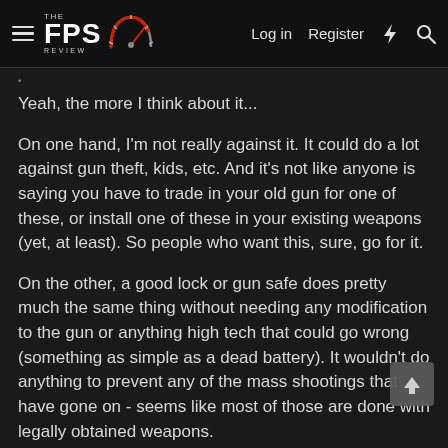THE FPS REVIEW — Log in  Register
Yeah, the more I think about it...
On one hand, I'm not really against it. It could do a lot against gun theft, kids, etc. And it's not like anyone is saying you have to trade in your old gun for one of these, or install one of these in your existing weapons (yet, at least). So people who want this, sure, go for it.
On the other, a good lock or gun safe does pretty much the same thing without needing any modification to the gun or anything high tech that could go wrong (something as simple as a dead battery). It wouldn't do anything to prevent any of the mass shootings that have gone on - seems like most of those are done with legally obtained weapons.
The only advantage I could see for biometrics as opposed to a good lock is the intruder case - where you keep the weapon a nightstand or by the bed or in the glovebox - it eliminates the need to physically unlock a weapon prior to use while still...